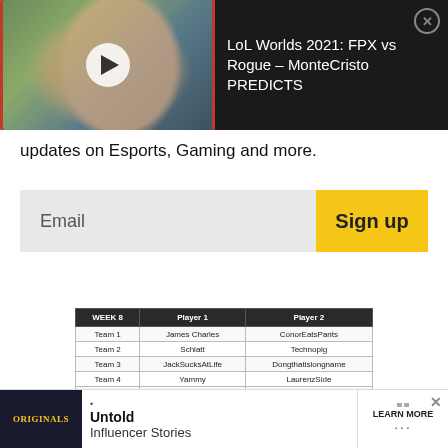[Figure (screenshot): Video thumbnail showing a person with red headphones, with a play button overlay, beside a dark panel with video title text and close button. Title: LoL Worlds 2021: FPX vs Rogue - MonteCristo PREDICTS]
updates on Esports, Gaming and more.
Email
Sign up
| WEEK 8 | Player 1 | Player 2 |
| --- | --- | --- |
| Team 1 | James Charles | ConorEatsPants |
| Team 2 | Schlatt | Technopig |
| Team 3 | JackSucksAtLife | Dongthatislongname |
| Team 4 | Yammy | LaurenzSide |
| Team 5 | Traves | Cassos |
| Team 6 | CaptainSparklez | Bojan_Canadian |
| Team 7 | DanTDM | ThinkNoodles |
| Team 8 | Preston | Logdotzip |
| Team 9 | GoodGuyFitz | SwaggerSouls |
| Team 10 | JeromeASF | Ph1LzA |
[Figure (screenshot): Advertisement banner for Originals - Untold Influencer Stories with LEARN MORE button]